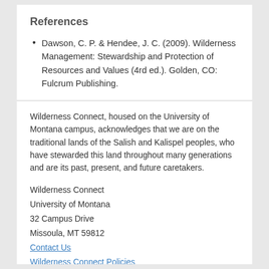References
Dawson, C. P. & Hendee, J. C. (2009). Wilderness Management: Stewardship and Protection of Resources and Values (4rd ed.). Golden, CO: Fulcrum Publishing.
Wilderness Connect, housed on the University of Montana campus, acknowledges that we are on the traditional lands of the Salish and Kalispel peoples, who have stewarded this land throughout many generations and are its past, present, and future caretakers.
Wilderness Connect
University of Montana
32 Campus Drive
Missoula, MT 59812
Contact Us
Wilderness Connect Policies